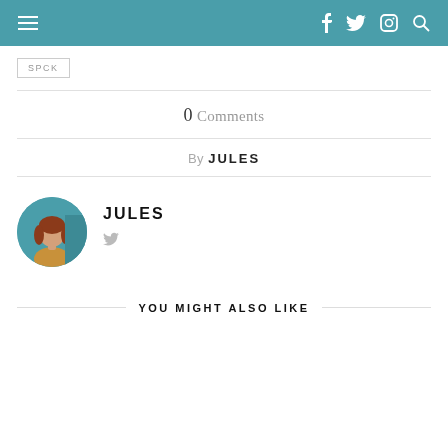Navigation header with hamburger menu and social icons (Facebook, Twitter, Instagram, Search)
SPCK
0 Comments
By JULES
[Figure (photo): Circular profile photo of Jules, a woman with red/auburn hair wearing a mustard-colored top, standing in front of a teal background]
JULES
YOU MIGHT ALSO LIKE